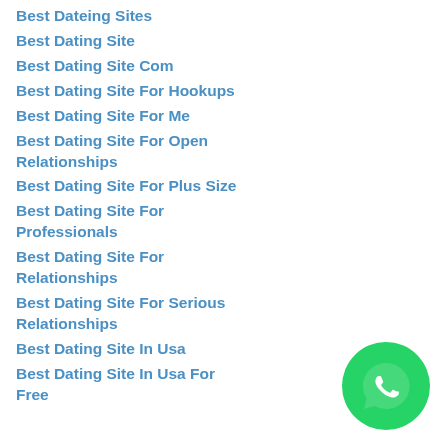Best Dateing Sites
Best Dating Site
Best Dating Site Com
Best Dating Site For Hookups
Best Dating Site For Me
Best Dating Site For Open Relationships
Best Dating Site For Plus Size
Best Dating Site For Professionals
Best Dating Site For Relationships
Best Dating Site For Serious Relationships
Best Dating Site In Usa
Best Dating Site In Usa For Free
[Figure (logo): WhatsApp green circle icon with white phone/chat logo]